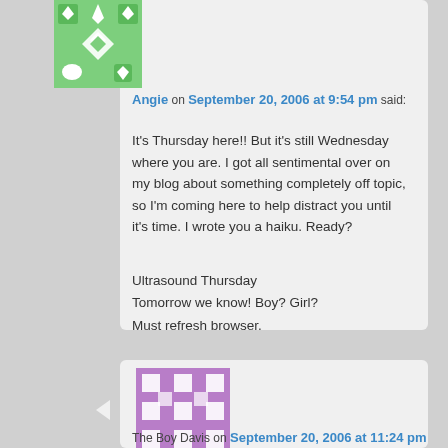[Figure (illustration): Green and white decorative avatar with diamond/star pattern for user Angie]
Angie on September 20, 2006 at 9:54 pm said:
It's Thursday here!! But it's still Wednesday where you are. I got all sentimental over on my blog about something completely off topic, so I'm coming here to help distract you until it's time. I wrote you a haiku. Ready?
Ultrasound Thursday
Tomorrow we know! Boy? Girl?
Must refresh browser.
[Figure (illustration): Purple and white decorative avatar with grid/film strip pattern for user The Boy Davis]
The Boy Davis on September 20, 2006 at 11:24 pm